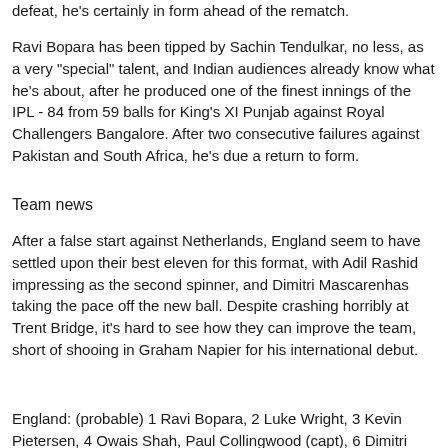defeat, he's certainly in form ahead of the rematch.
Ravi Bopara has been tipped by Sachin Tendulkar, no less, as a very "special" talent, and Indian audiences already know what he's about, after he produced one of the finest innings of the IPL - 84 from 59 balls for King's XI Punjab against Royal Challengers Bangalore. After two consecutive failures against Pakistan and South Africa, he's due a return to form.
Team news
After a false start against Netherlands, England seem to have settled upon their best eleven for this format, with Adil Rashid impressing as the second spinner, and Dimitri Mascarenhas taking the pace off the new ball. Despite crashing horribly at Trent Bridge, it's hard to see how they can improve the team, short of shooing in Graham Napier for his international debut.
England: (probable) 1 Ravi Bopara, 2 Luke Wright, 3 Kevin Pietersen, 4 Owais Shah, Paul Collingwood (capt), 6 Dimitri